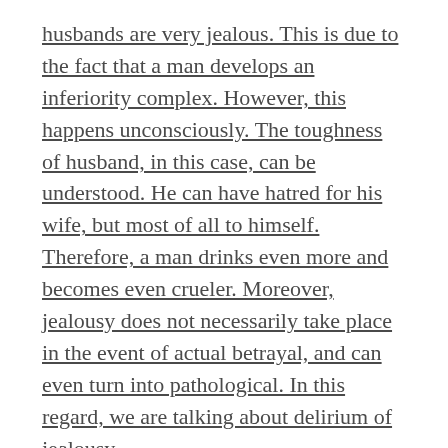husbands are very jealous. This is due to the fact that a man develops an inferiority complex. However, this happens unconsciously. The toughness of husband, in this case, can be understood. He can have hatred for his wife, but most of all to himself. Therefore, a man drinks even more and becomes even crueler. Moreover, jealousy does not necessarily take place in the event of actual betrayal, and can even turn into pathological. In this regard, we are talking about delirium of jealousy.
On the background of husband's impotence, wives can cheat on them, which in turn has a negative impact on already grown jealousy of drinking husband. Life of spouses turns into a real nightmare, and if a wife, in this case, loses patience, then divorce is inevitable.